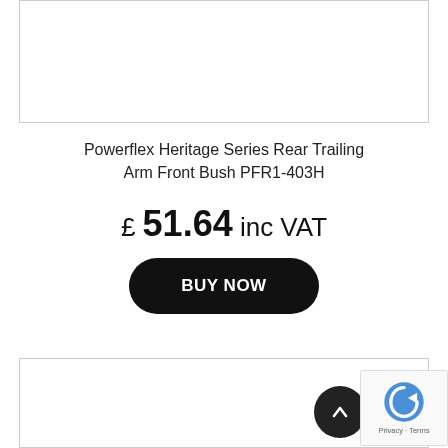[Figure (photo): Product image placeholder box (top), partially cropped]
Powerflex Heritage Series Rear Trailing Arm Front Bush PFR1-403H
£ 51.64 inc VAT
BUY NOW
[Figure (photo): Product image placeholder box (bottom), partially cropped]